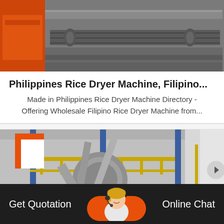[Figure (photo): Industrial conveyor or dryer machine with orange/red and gray metallic components]
Philippines Rice Dryer Machine, Filipino...
Made in Philippines Rice Dryer Machine Directory - Offering Wholesale Filipino Rice Dryer Machine from...
[Figure (photo): Industrial facility with pipes, ducts, blue metal structures and yellow railings]
Get Quotation   Online Chat